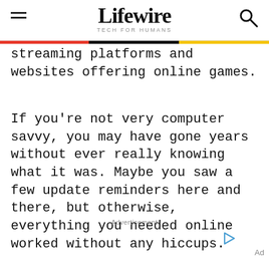Lifewire TECH FOR HUMANS
streaming platforms and websites offering online games.
If you're not very computer savvy, you may have gone years without ever really knowing what it was. Maybe you saw a few update reminders here and there, but otherwise, everything you needed online worked without any hiccups.
Advertisement